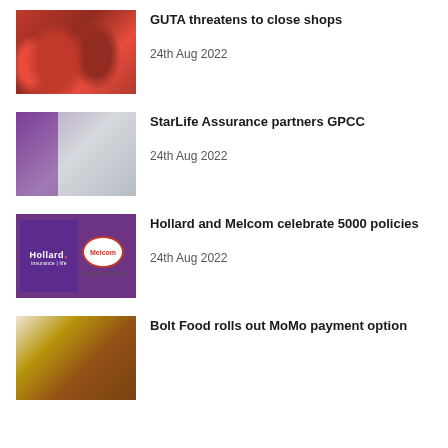[Figure (photo): Group of people in red attire at a press event]
GUTA threatens to close shops
24th Aug 2022
[Figure (photo): StarLife Assurance and GPCC partnership event with two people in front of a branded backdrop]
StarLife Assurance partners GPCC
24th Aug 2022
[Figure (logo): Hollard Insurance and Melcom logos side by side]
Hollard and Melcom celebrate 5000 policies
24th Aug 2022
[Figure (photo): Man in front of colorful background]
Bolt Food rolls out MoMo payment option